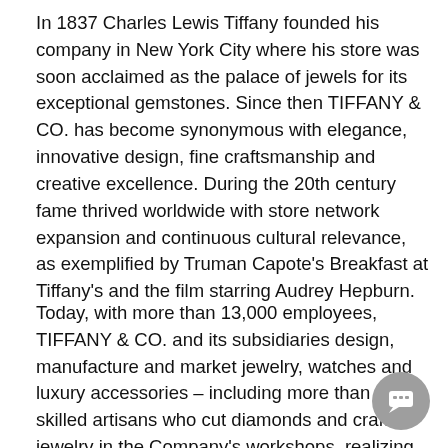In 1837 Charles Lewis Tiffany founded his company in New York City where his store was soon acclaimed as the palace of jewels for its exceptional gemstones. Since then TIFFANY & CO. has become synonymous with elegance, innovative design, fine craftsmanship and creative excellence. During the 20th century fame thrived worldwide with store network expansion and continuous cultural relevance, as exemplified by Truman Capote's Breakfast at Tiffany's and the film starring Audrey Hepburn.
Today, with more than 13,000 employees, TIFFANY & CO. and its subsidiaries design, manufacture and market jewelry, watches and luxury accessories – including more than 5,000 skilled artisans who cut diamonds and craft jewelry in the Company's workshops, realizing its commitment to superlative quality.
The Company operates more than 300 TIFFANY & CO. retail stores worldwide as part of its omni-channel